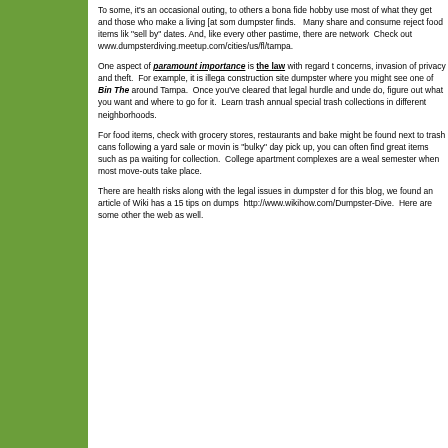To some, it's an occasional outing, to others a bona fide hobby. [text continues off page] use most of what they get and those who make a living [at som...] dumpster finds.   Many share and consume reject food items lik... "sell by" dates. And, like every other pastime, there are network...  Check out www.dumpsterdiving.meetup.com/cities/us/fl/tampa.
One aspect of paramount importance is the law with regard t... concerns, invasion of privacy and theft.  For example, it is illega... construction site dumpster where you might see one of Bin The... around Tampa.  Once you've cleared that legal hurdle and unde... do, figure out what you want and where to go for it.  Learn trash... annual special trash collections in different neighborhoods.
For food items, check with grocery stores, restaurants and bake... might be found next to trash cans following a yard sale or movi... is "bulky" day pick up, you can often find great items such as pa... waiting for collection.  College apartment complexes are a weal... semester when most move-outs take place.
There are health risks along with the legal issues in dumpster d... for this blog, we found an article of Wiki has a 15 tips on dumps...  http://www.wikihow.com/Dumpster-Dive.  Here are some other... the web as well.